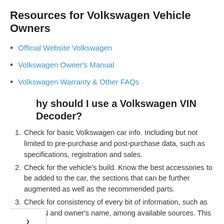Resources for Volkswagen Vehicle Owners
Official Website Volkswagen
Volkswagen Owner's Manual
Volkswagen Warranty & Other FAQs
Why should I use a Volkswagen VIN Decoder?
Check for basic Volkswagen car info. Including but not limited to pre-purchase and post-purchase data, such as specifications, registration and sales.
Check for the vehicle's build. Know the best accessories to be added to the car, the sections that can be further augmented as well as the recommended parts.
Check for consistency of every bit of information, such as the VIN and owner's name, among available sources. This is one